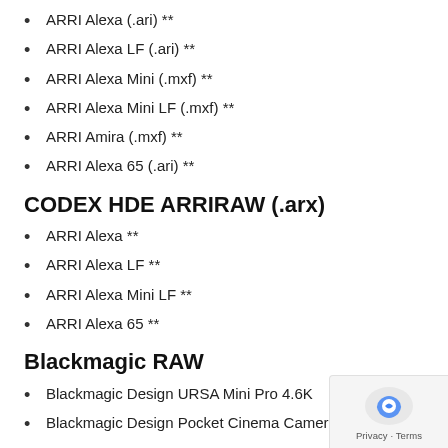ARRI Alexa (.ari) **
ARRI Alexa LF (.ari) **
ARRI Alexa Mini (.mxf) **
ARRI Alexa Mini LF (.mxf) **
ARRI Amira (.mxf) **
ARRI Alexa 65 (.ari) **
CODEX HDE ARRIRAW (.arx)
ARRI Alexa **
ARRI Alexa LF **
ARRI Alexa Mini LF **
ARRI Alexa 65 **
Blackmagic RAW
Blackmagic Design URSA Mini Pro 4.6K
Blackmagic Design Pocket Cinema Camera 4K
AVC-Intra
Panasonic Varicam **
Canon XF Movies
Canon C300 Mk. I & II **